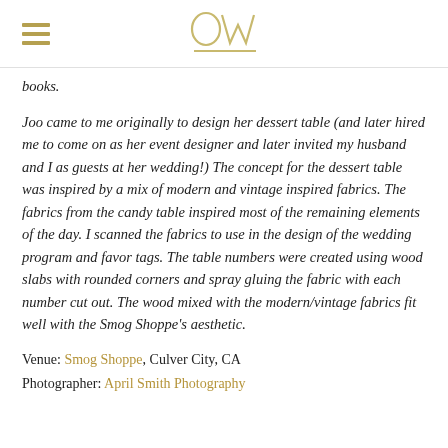OW (logo)
books.
Joo came to me originally to design her dessert table (and later hired me to come on as her event designer and later invited my husband and I as guests at her wedding!)  The concept for the dessert table was inspired by a mix of modern and vintage inspired fabrics.  The fabrics from the candy table inspired most of the remaining elements of the day.  I scanned the fabrics to use in the design of the wedding program and favor tags.   The table numbers were created using wood slabs with rounded corners and spray gluing the fabric with each number cut out.  The wood mixed with the modern/vintage fabrics fit well with the Smog Shoppe's aesthetic.
Venue: Smog Shoppe, Culver City, CA
Photographer: April Smith Photography